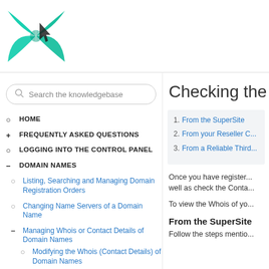[Figure (logo): Green teal logo with leaf/spider web design and a cursor arrow]
Search the knowledgebase
HOME
FREQUENTLY ASKED QUESTIONS
LOGGING INTO THE CONTROL PANEL
DOMAIN NAMES
Listing, Searching and Managing Domain Registration Orders
Changing Name Servers of a Domain Name
Managing Whois or Contact Details of Domain Names
Modifying the Whois (Contact Details) of Domain Names
Checking the
1. From the SuperSite
2. From your Reseller C...
3. From a Reliable Third...
Once you have register... well as check the Conta...
To view the Whois of yo...
From the SuperSite
Follow the steps mentio...